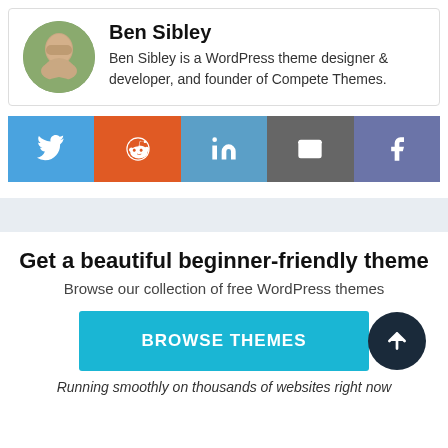[Figure (photo): Author bio box with circular headshot of Ben Sibley (man with beard), name in bold, and bio text]
Ben Sibley
Ben Sibley is a WordPress theme designer & developer, and founder of Compete Themes.
[Figure (infographic): Row of 5 social share buttons: Twitter (blue), Reddit (orange), LinkedIn (blue), Email (gray), Facebook (purple-blue)]
Get a beautiful beginner-friendly theme
Browse our collection of free WordPress themes
BROWSE THEMES
Running smoothly on thousands of websites right now